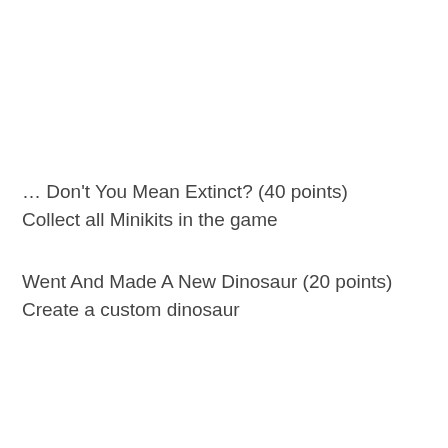… Don't You Mean Extinct? (40 points)
Collect all Minikits in the game
Went And Made A New Dinosaur (20 points)
Create a custom dinosaur